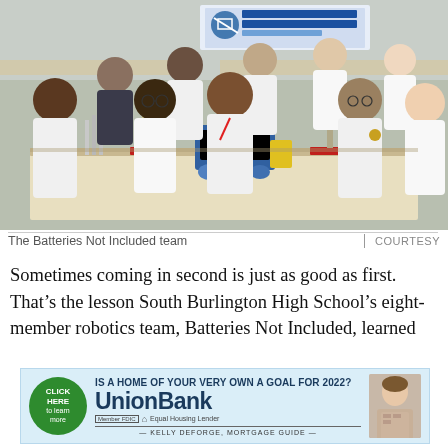[Figure (photo): Group photo of the Batteries Not Included robotics team from South Burlington High School, eight students sitting and standing around a table with their robot and trophies. A banner reading 'BATTERIES NOT INCLUDED' is visible in the background. Students are wearing white team t-shirts.]
The Batteries Not Included team     COURTESY
Sometimes coming in second is just as good as first. That’s the lesson South Burlington High School’s eight-member robotics team, Batteries Not Included, learned
[Figure (infographic): Advertisement for Union Bank. Headline: IS A HOME OF YOUR VERY OWN A GOAL FOR 2022? Green circular badge with text: CLICK HERE to learn more. Union Bank logo. Member FDIC Equal Housing Lender. KELLY DEFORGE, MORTGAGE GUIDE. Photo of a woman.]